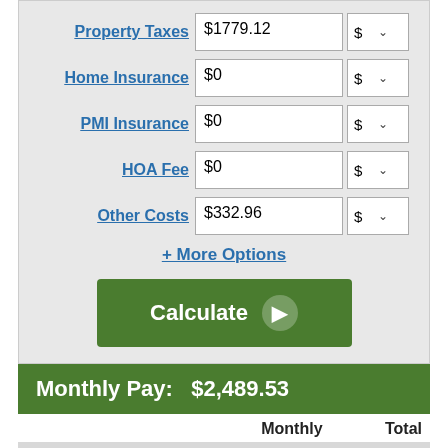|  | Field | Value | Unit |
| --- | --- | --- | --- |
| Property Taxes | $1779.12 | $ |
| Home Insurance | $0 | $ |
| PMI Insurance | $0 | $ |
| HOA Fee | $0 | $ |
| Other Costs | $332.96 | $ |
+ More Options
Calculate
Monthly Pay:   $2,489.53
|  | Monthly | Total |
| --- | --- | --- |
| Mortgage Payment | $2,489.53 | $746,860.00 |
| Property Tax | $148.26 | $44,478.00 |
| Other Costs | $27.75 | $8,324.00 |